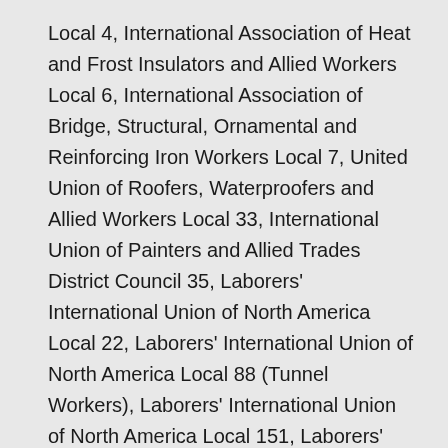Local 4, International Association of Heat and Frost Insulators and Allied Workers Local 6, International Association of Bridge, Structural, Ornamental and Reinforcing Iron Workers Local 7, United Union of Roofers, Waterproofers and Allied Workers Local 33, International Union of Painters and Allied Trades District Council 35, Laborers' International Union of North America Local 22, Laborers' International Union of North America Local 88 (Tunnel Workers), Laborers' International Union of North America Local 151, Laborers' International Union of North America Local 223, Laborers' International Union of North America Local 1421 (Wreckers), Operative Plasterers' & Cement Masons' International Association Local 534, Sheet Metal Workers' International Association Local 17, The International Brotherhood of Boilermakers, Iron Ship Builders, Blacksmiths,